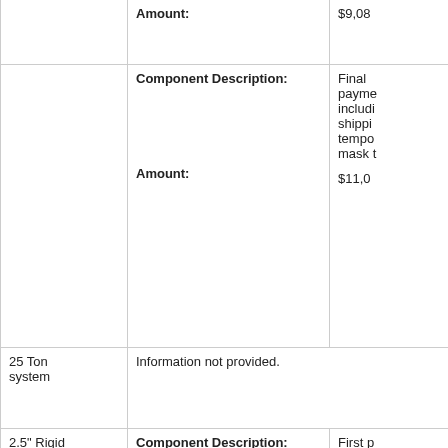| Component | Field | Value |
| --- | --- | --- |
|  | Amount: | $9,08... |
|  | Component Description: | Final payment including shipping tempo mask t... |
|  | Amount: | $11,0... |
| 25 Ton system | Information not provided. |  |
| 2.5" Rigid Conduit and Wiring | Component Description: | First p electri service installa for nev transm... |